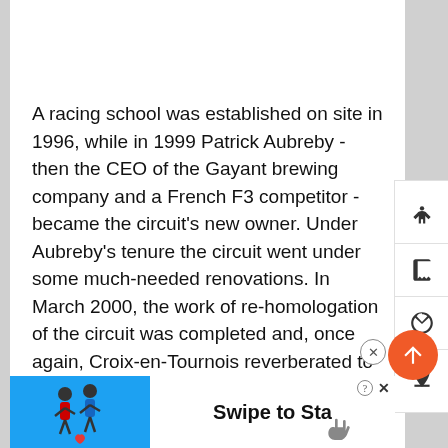A racing school was established on site in 1996, while in 1999 Patrick Aubreby - then the CEO of the Gayant brewing company and a French F3 competitor - became the circuit's new owner. Under Aubreby's tenure the circuit went under some much-needed renovations. In March 2000, the work of re-homologation of the circuit was completed and, once again, Croix-en-Tournois reverberated to the sound of F3 engines when the French championship visited once again. Sadly, it would only be back for a further two years, this time not because of any dissatisfaction with the
[Figure (infographic): Advertisement banner with blue background showing cartoon figures and 'Swipe to Sta' text with a hand swipe icon]